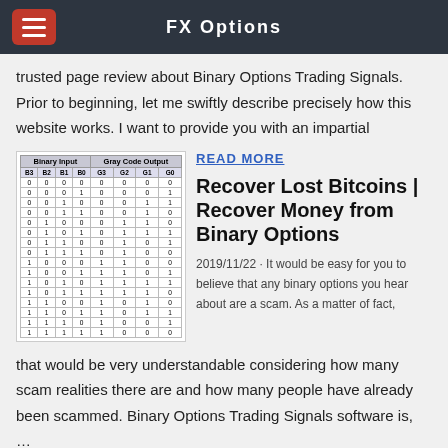FX Options
trusted page review about Binary Options Trading Signals. Prior to beginning, let me swiftly describe precisely how this website works. I want to provide you with an impartial
| B3 | B2 | B1 | B0 | G3 | G2 | G1 | G0 |
| --- | --- | --- | --- | --- | --- | --- | --- |
| 0 | 0 | 0 | 0 | 0 | 0 | 0 | 0 |
| 0 | 0 | 0 | 1 | 0 | 0 | 0 | 1 |
| 0 | 0 | 1 | 0 | 0 | 0 | 1 | 1 |
| 0 | 0 | 1 | 1 | 0 | 0 | 1 | 0 |
| 0 | 1 | 0 | 0 | 0 | 1 | 1 | 0 |
| 0 | 1 | 0 | 1 | 0 | 1 | 1 | 1 |
| 0 | 1 | 1 | 0 | 0 | 1 | 0 | 1 |
| 0 | 1 | 1 | 1 | 0 | 1 | 0 | 0 |
| 1 | 0 | 0 | 0 | 1 | 1 | 0 | 0 |
| 1 | 0 | 0 | 1 | 1 | 1 | 0 | 1 |
| 1 | 0 | 1 | 0 | 1 | 1 | 1 | 1 |
| 1 | 0 | 1 | 1 | 1 | 1 | 1 | 0 |
| 1 | 1 | 0 | 0 | 1 | 0 | 1 | 0 |
| 1 | 1 | 0 | 1 | 1 | 0 | 1 | 1 |
| 1 | 1 | 1 | 0 | 1 | 0 | 0 | 1 |
| 1 | 1 | 1 | 1 | 1 | 0 | 0 | 0 |
READ MORE
Recover Lost Bitcoins | Recover Money from Binary Options
2019/11/22 · It would be easy for you to believe that any binary options you hear about are a scam. As a matter of fact,
that would be very understandable considering how many scam realities there are and how many people have already been scammed. Binary Options Trading Signals software is, …